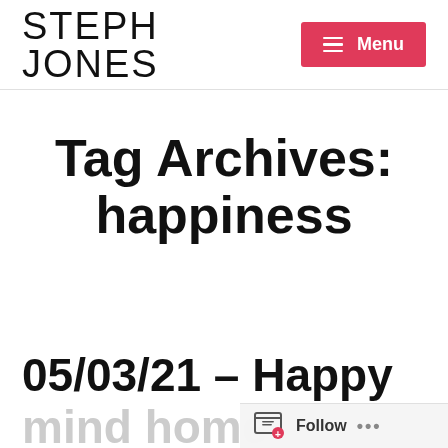STEPH JONES | Menu
Tag Archives: happiness
05/03/21 – Happy
mind home
Follow ...